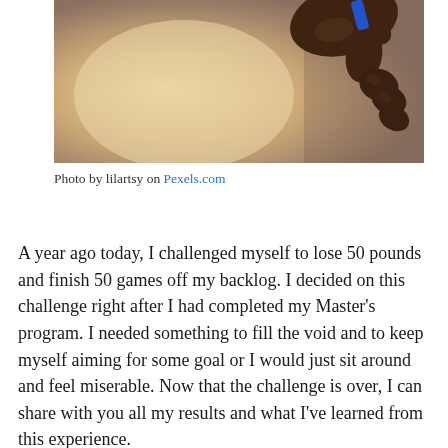[Figure (photo): Close-up photo of a dark-skinned hand holding a small blue object, with a blurred warm beige/peach background. The image is cropped showing the lower portion of the hand and fingers.]
Photo by lilartsy on Pexels.com
A year ago today, I challenged myself to lose 50 pounds and finish 50 games off my backlog. I decided on this challenge right after I had completed my Master’s program. I needed something to fill the void and to keep myself aiming for some goal or I would just sit around and feel miserable. Now that the challenge is over, I can share with you all my results and what I’ve learned from this experience.